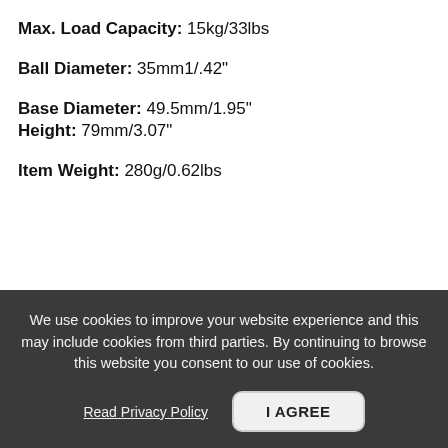Max. Load Capacity: 15kg/33lbs
Ball Diameter: 35mm1/.42"
Base Diameter: 49.5mm/1.95"
Height: 79mm/3.07"
Item Weight: 280g/0.62lbs
We use cookies to improve your website experience and this may include cookies from third parties. By continuing to browse this website you consent to our use of cookies.
Read Privacy Policy
I AGREE